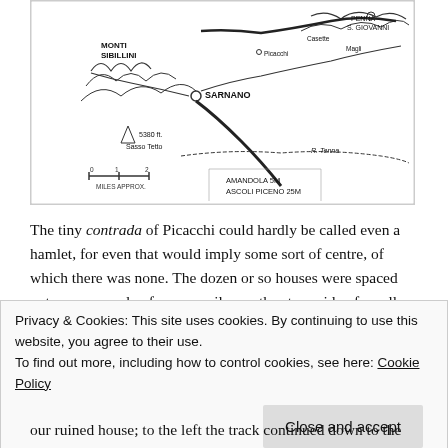[Figure (map): Hand-drawn map showing Monti Sibillini area with locations: Monti Sibillini, Sarnano, Penna S. Giovanni, Casette, Picacchi, Magli, R. Tenna. Triangle symbol for 5380 ft. Sasso Tetto. Scale bar showing 0-1-2 miles approx. Bottom text: Amandola 5M, Ascoli Piceno 25M.]
The tiny contrada of Picacchi could hardly be called even a hamlet, for even that would imply some sort of centre, of which there was none. The dozen or so houses were spaced out over a couple of square miles on the steep side of a valley which dropped down to the river Tenna. Above it, along the ridge, was the provincial road – connecting the little towns of Gualdo and Penna San Giovanni – from which a
Privacy & Cookies: This site uses cookies. By continuing to use this website, you agree to their use.
To find out more, including how to control cookies, see here: Cookie Policy
our ruined house; to the left the track continued down to the